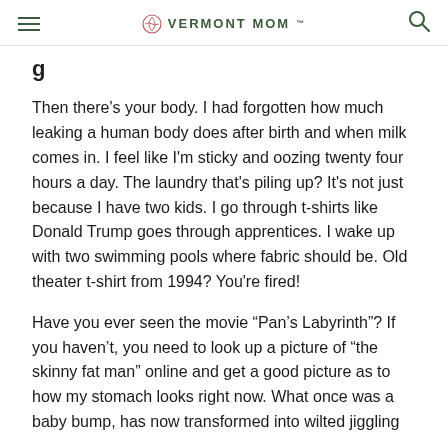VERMONT MOM
Then there's your body. I had forgotten how much leaking a human body does after birth and when milk comes in. I feel like I'm sticky and oozing twenty four hours a day. The laundry that's piling up? It's not just because I have two kids. I go through t-shirts like Donald Trump goes through apprentices. I wake up with two swimming pools where fabric should be. Old theater t-shirt from 1994? You're fired!
Have you ever seen the movie “Pan’s Labyrinth”? If you haven’t, you need to look up a picture of “the skinny fat man” online and get a good picture as to how my stomach looks right now. What once was a baby bump, has now transformed into wilted jiggling